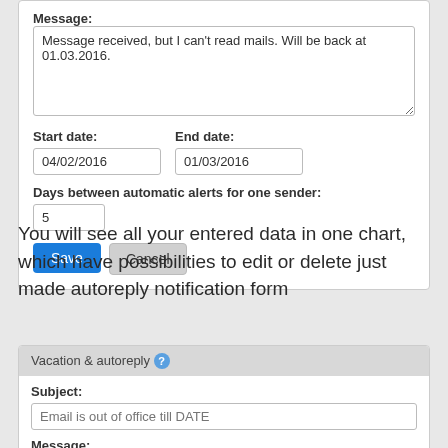Message:
Message received, but I can't read mails. Will be back at 01.03.2016.
Start date:
04/02/2016
End date:
01/03/2016
Days between automatic alerts for one sender:
5
Save
Cancel
You will see all your entered data in one chart, which have possibilities to edit or delete just made autoreply notification form
Vacation & autoreply
Subject:
Email is out of office till DATE
Message: